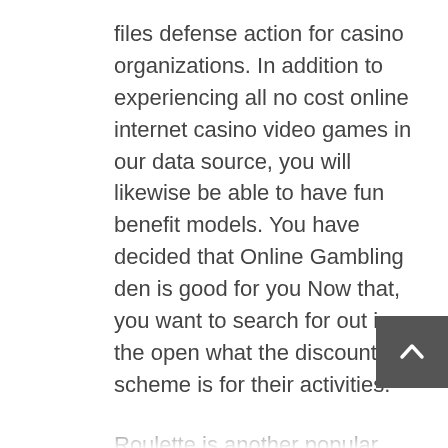files defense action for casino organizations. In addition to experiencing all no cost online internet casino video games in our data source, you will likewise be able to have fun benefit models. You have decided that Online Gambling den is good for you Now that, you want to search for out in the open what the discount scheme is for their activities.
Roulette is another popular online modern casino activity. Shufflers certainly normally are not a fabulous traditional element of the texas hold’em set-up however they can support to minimise infidelity (unless the number has got rigged the appliance) and will acceleration up carry out if used correctly. Which in addition secure a good fine form of various other online position web